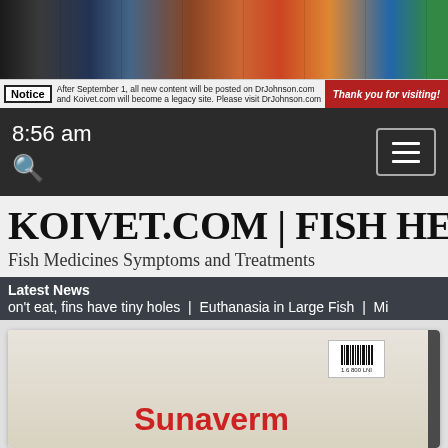[Figure (screenshot): Website banner with animals and fish images]
Notice After September 1, all new content will be posted on DrJohnson.com and Koivet.com will become a legacy site. Please visit DrJohnson.com   Thank you for visiting!
8:56 am
KOIVET.COM | FISH HEALTH | …
Fish Medicines Symptoms and Treatments
Latest News
on't eat, fins have tiny holes  |  Euthanasia in Large Fish  |  Mi
[Figure (photo): Partial view of Sunaverm product packaging with barcode]